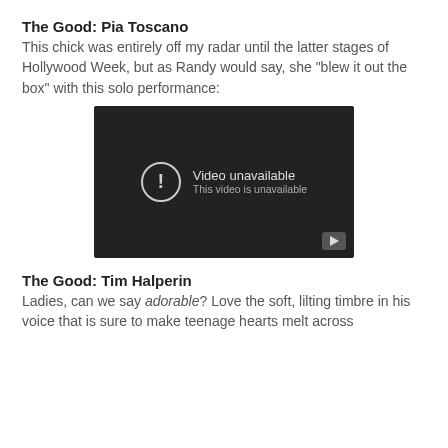The Good: Pia Toscano
This chick was entirely off my radar until the latter stages of Hollywood Week, but as Randy would say, she "blew it out the box" with this solo performance:
[Figure (screenshot): Embedded YouTube video player showing 'Video unavailable — This video is unavailable' message on a dark background with a YouTube play button icon in the bottom-right corner.]
The Good: Tim Halperin
Ladies, can we say adorable? Love the soft, lilting timbre in his voice that is sure to make teenage hearts melt across